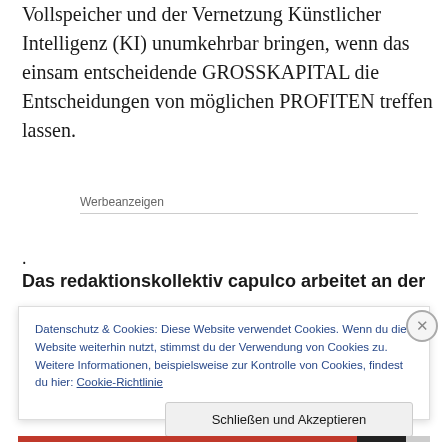Vollspeicher und der Vernetzung Künstlicher Intelligenz (KI) unumkehrbar bringen, wenn das einsam entscheidende GROSSKAPITAL die Entscheidungen von möglichen PROFITEN treffen lassen.
Werbeanzeigen
.
Das redaktionskollektiv capulco arbeitet an der
Datenschutz & Cookies: Diese Website verwendet Cookies. Wenn du die Website weiterhin nutzt, stimmst du der Verwendung von Cookies zu. Weitere Informationen, beispielsweise zur Kontrolle von Cookies, findest du hier: Cookie-Richtlinie
Schließen und Akzeptieren